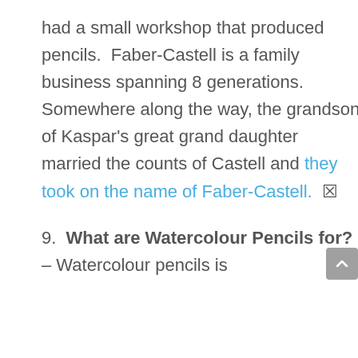had a small workshop that produced pencils.  Faber-Castell is a family business spanning 8 generations.  Somewhere along the way, the grandson of Kaspar's great grand daughter married the counts of Castell and they took on the name of Faber-Castell.
9.  What are Watercolour Pencils for? – Watercolour pencils is